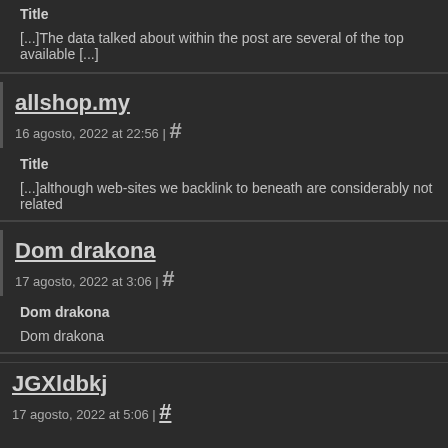Title
[...]The data talked about within the post are several of the top available [...]
allshop.my
16 agosto, 2022 at 22:56 | #
Title
[...]although web-sites we backlink to beneath are considerably not related
Dom drakona
17 agosto, 2022 at 3:06 | #
Dom drakona
Dom drakona
JGXldbkj
17 agosto, 2022 at 5:06 | #